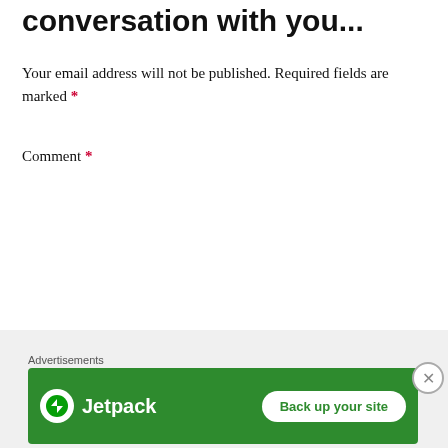conversation with you...
Your email address will not be published. Required fields are marked *
Comment *
[Figure (screenshot): Empty comment textarea input box with resize handle in bottom-right corner]
Advertisements
[Figure (infographic): Jetpack advertisement banner on green background with logo and 'Back up your site' button]